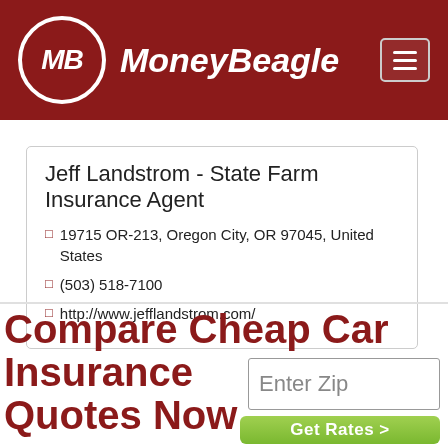[Figure (logo): MoneyBeagle logo on dark red header background with MB circle emblem and hamburger menu icon]
Jeff Landstrom - State Farm Insurance Agent
📍 19715 OR-213, Oregon City, OR 97045, United States
📞 (503) 518-7100
🌐 http://www.jefflandstrom.com/
Compare Cheap Car Insurance Quotes Now
Enter Zip
Get Rates >